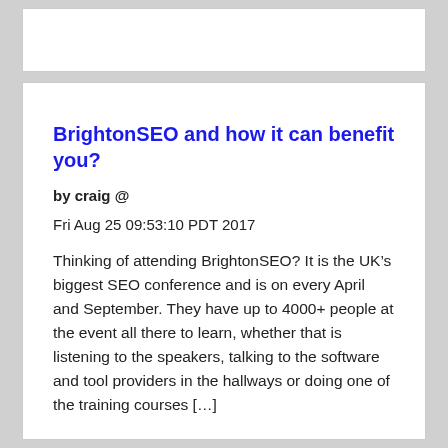BrightonSEO and how it can benefit you?
by craig @
Fri Aug 25 09:53:10 PDT 2017
Thinking of attending BrightonSEO? It is the UK’s biggest SEO conference and is on every April and September. They have up to 4000+ people at the event all there to learn, whether that is listening to the speakers, talking to the software and tool providers in the hallways or doing one of the training courses […]